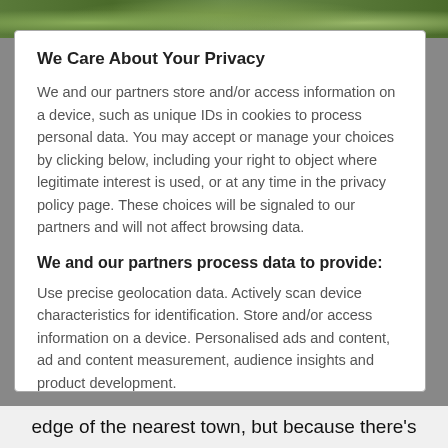[Figure (photo): Top strip showing green foliage/plants background image]
We Care About Your Privacy
We and our partners store and/or access information on a device, such as unique IDs in cookies to process personal data. You may accept or manage your choices by clicking below, including your right to object where legitimate interest is used, or at any time in the privacy policy page. These choices will be signaled to our partners and will not affect browsing data.
We and our partners process data to provide:
Use precise geolocation data. Actively scan device characteristics for identification. Store and/or access information on a device. Personalised ads and content, ad and content measurement, audience insights and product development.
edge of the nearest town, but because there's